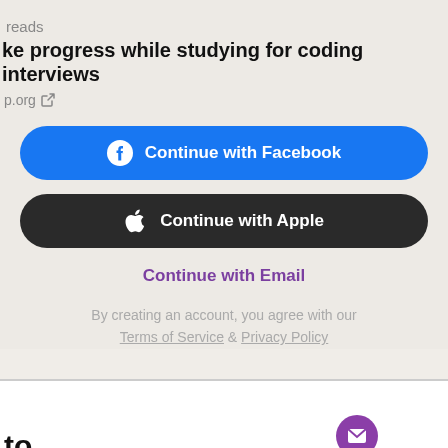reads
ke progress while studying for coding interviews
p.org
[Figure (screenshot): Continue with Facebook button - blue rounded rectangle with Facebook logo icon]
[Figure (screenshot): Continue with Apple button - dark rounded rectangle with Apple logo icon]
Continue with Email
By creating an account, you agree with our Terms of Service & Privacy Policy
to